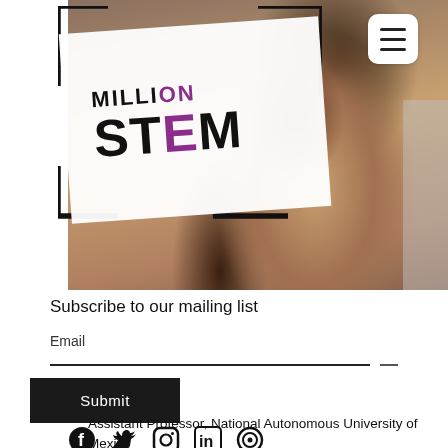[Figure (logo): Million STEM logo on white rotated card with bracket frame, overlaid on photo of a woman]
[Figure (photo): Portrait photo of a young woman with long brown hair, shown from shoulders up, against a gray wall background]
Subscribe to our mailing list
Email
Submit
Assistant Professor, National Autonomous University of Mexico
[Figure (infographic): Row of social media icons: Facebook, Twitter, Instagram, LinkedIn, and a circle/target icon]